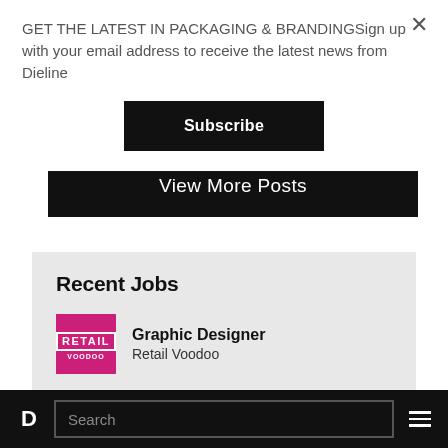GET THE LATEST IN PACKAGING & BRANDINGSign up with your email address to receive the latest news from Dieline
Subscribe
View More Posts
Recent Jobs
Graphic Designer
Retail Voodoo
D  Search  ☰